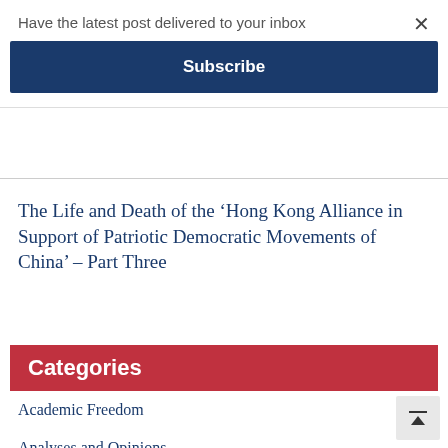Have the latest post delivered to your inbox
Subscribe
The Life and Death of the ‘Hong Kong Alliance in Support of Patriotic Democratic Movements of China’ – Part Three
Categories
Academic Freedom
Analyses and Opinions
Civil Society
Covid-19